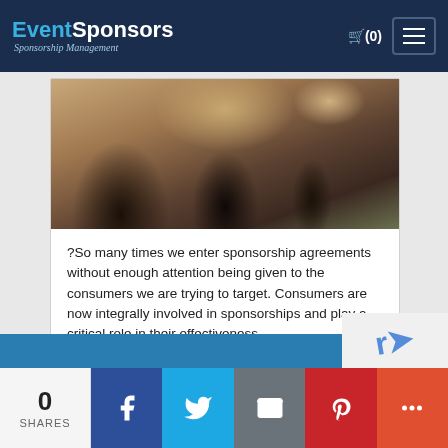EventSponsors - Sponsorship Management
[Figure (photo): People sitting in a circle at desks in a classroom or workshop setting, viewed from above/behind]
?So many times we enter sponsorship agreements without enough attention being given to the consumers we are trying to target. Consumers are now integrally involved in sponsorships and play a critical role in their effectiveness.
READ MORE   MORE POSTS
0 SHARES
[Figure (infographic): Social sharing bar with Facebook, Twitter, Email, Pinterest, and More buttons]